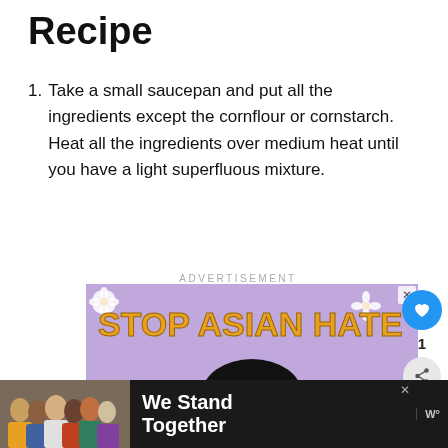Recipe
Take a small saucepan and put all the ingredients except the cornflour or cornstarch. Heat all the ingredients over medium heat until you have a light superfluous mixture.
[Figure (infographic): Advertisement banner showing 'STOP ASIAN HATE' text in bold orange on a purple background with illustrated Asian woman character and white flowers. Below is a 'We Stand Together' banner with people photo.]
ADVERTISEMENT